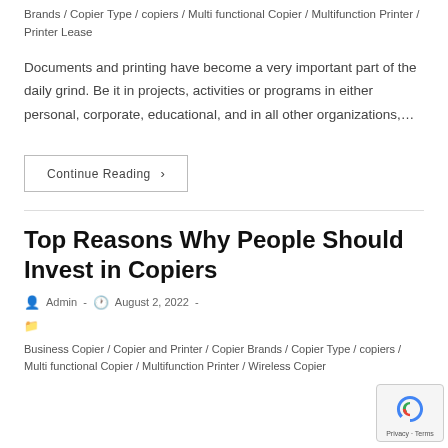Brands / Copier Type / copiers / Multi functional Copier / Multifunction Printer / Printer Lease
Documents and printing have become a very important part of the daily grind. Be it in projects, activities or programs in either personal, corporate, educational, and in all other organizations,…
Continue Reading ›
Top Reasons Why People Should Invest in Copiers
Admin · August 2, 2022 ·
Business Copier / Copier and Printer / Copier Brands / Copier Type / copiers / Multi functional Copier / Multifunction Printer / Wireless Copier